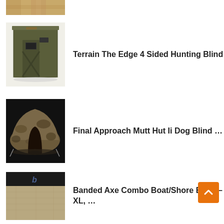[Figure (photo): Partial view of a hunting blind product image at top of page, cropped]
[Figure (photo): Terrain The Edge 4 Sided Hunting Blind - olive/green plastic box blind]
Terrain The Edge 4 Sided Hunting Blind
[Figure (photo): Final Approach Mutt Hut Ii Dog Blind - camo dome tent shaped blind]
Final Approach Mutt Hut Ii Dog Blind …
[Figure (photo): Banded Axe Combo Boat/Shore Blind – XL - black and tan colored blind]
Banded Axe Combo Boat/Shore Blind – XL, …